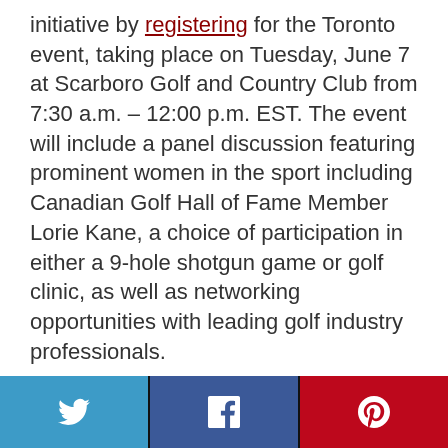initiative by registering for the Toronto event, taking place on Tuesday, June 7 at Scarboro Golf and Country Club from 7:30 a.m. – 12:00 p.m. EST. The event will include a panel discussion featuring prominent women in the sport including Canadian Golf Hall of Fame Member Lorie Kane, a choice of participation in either a 9-hole shotgun game or golf clinic, as well as networking opportunities with leading golf industry professionals.
Additionally, event participants will receive complimentary tickets courtesy of Golf Canada, to the RBC Canadian Open taking
[Figure (other): Social share buttons: Twitter (blue), Facebook (dark blue), Pinterest (red)]